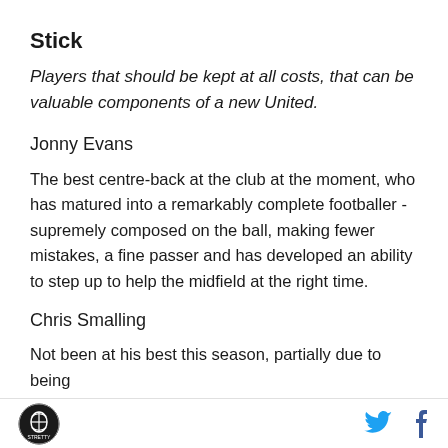Stick
Players that should be kept at all costs, that can be valuable components of a new United.
Jonny Evans
The best centre-back at the club at the moment, who has matured into a remarkably complete footballer - supremely composed on the ball, making fewer mistakes, a fine passer and has developed an ability to step up to help the midfield at the right time.
Chris Smalling
Not been at his best this season, partially due to being